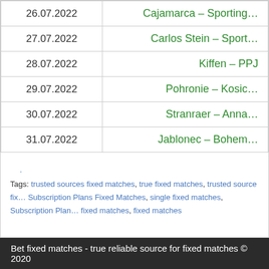| Date | Match |
| --- | --- |
| 26.07.2022 | Cajamarca – Sporting… |
| 27.07.2022 | Carlos Stein – Sport… |
| 28.07.2022 | Kiffen – PPJ |
| 29.07.2022 | Pohronie – Kosic… |
| 30.07.2022 | Stranraer – Anna… |
| 31.07.2022 | Jablonec – Bohem… |
. Tags: trusted sources fixed matches, true fixed matches, trusted source fix… Subscription Plans Fixed Matches, single fixed matches, Subscription Plan… fixed matches, fixed matches
Bet fixed matches - true reliable source for fixed matches © 2020